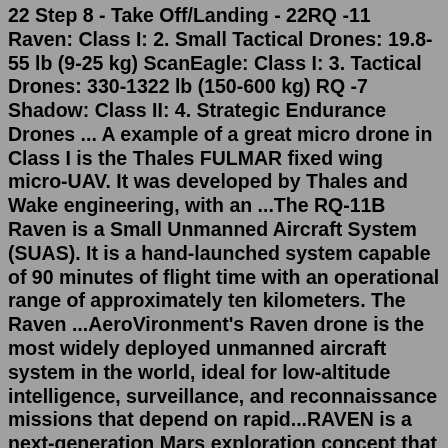22 Step 8 - Take Off/Landing - 22RQ -11 Raven: Class I: 2. Small Tactical Drones: 19.8- 55 lb (9-25 kg) ScanEagle: Class I: 3. Tactical Drones: 330-1322 lb (150-600 kg) RQ -7 Shadow: Class II: 4. Strategic Endurance Drones ... A example of a great micro drone in Class I is the Thales FULMAR fixed wing micro-UAV. It was developed by Thales and Wake engineering, with an ...The RQ-11B Raven is a Small Unmanned Aircraft System (SUAS). It is a hand-launched system capable of 90 minutes of flight time with an operational range of approximately ten kilometers. The Raven ...AeroVironment's Raven drone is the most widely deployed unmanned aircraft system in the world, ideal for low-altitude intelligence, surveillance, and reconnaissance missions that depend on rapid...RAVEN is a next-generation Mars exploration concept that will seek to build on NASA's upcoming Mars 2020 mission—and hopefully make "rover + drone" the default way to explore a planet's ...Military drones, or unmanned aerial vehicles (UAVs), are becoming more prevelant and helpful in